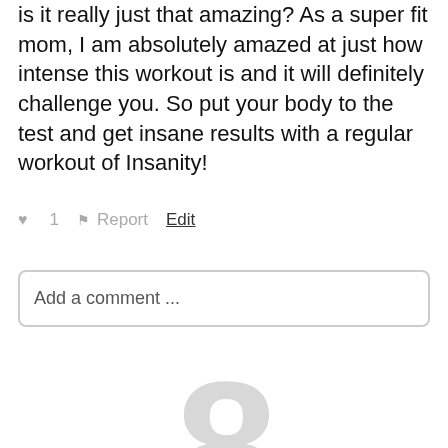is it really just that amazing? As a super fit mom, I am absolutely amazed at just how intense this workout is and it will definitely challenge you. So put your body to the test and get insane results with a regular workout of Insanity!
♥ 1   ⚑ Report   Edit
Add a comment ...
[Figure (illustration): Large light gray number 8 used as a decorative avatar/placeholder graphic]